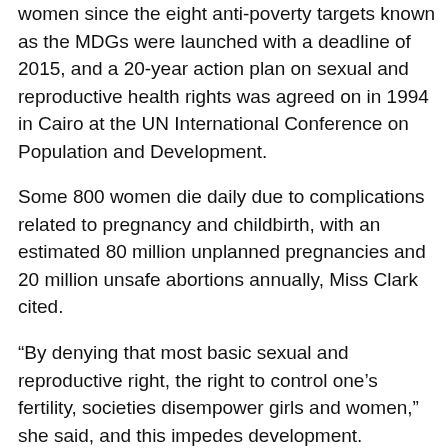women since the eight anti-poverty targets known as the MDGs were launched with a deadline of 2015, and a 20-year action plan on sexual and reproductive health rights was agreed on in 1994 in Cairo at the UN International Conference on Population and Development.
Some 800 women die daily due to complications related to pregnancy and childbirth, with an estimated 80 million unplanned pregnancies and 20 million unsafe abortions annually, Miss Clark cited.
“By denying that most basic sexual and reproductive right, the right to control one’s fertility, societies disempower girls and women,” she said, and this impedes development. “Countries where women have rights and opportunity denied cannot maximize their development potential – that can’t happen if half the population is not equally empowered.”